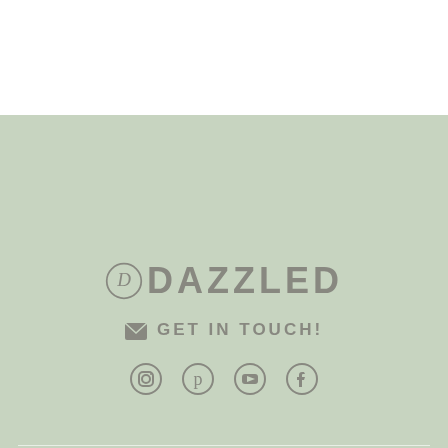[Figure (logo): Dazzled brand logo with circular D icon and DAZZLED text]
GET IN TOUCH!
[Figure (infographic): Social media icons: Instagram, Pinterest, YouTube, Facebook]
[Figure (logo): Green circle with two chat bubble icons]
[Figure (logo): WalkingEolie & Sicily logo in blue handwritten style]
[Figure (infographic): Dark green square box with upward arrow icon]